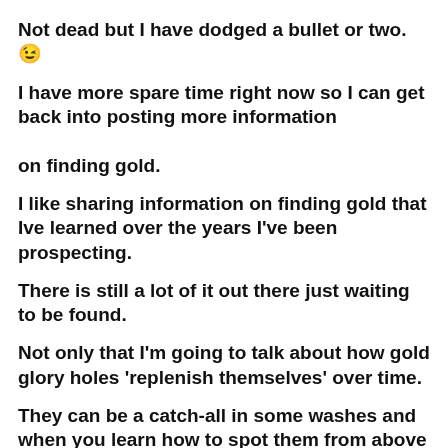Not dead but I have dodged a bullet or two. 😊
I have more spare time right now so I can get back into posting more information on finding gold.
I like sharing information on finding gold that Ive learned over the years I've been prospecting.
There is still a lot of it out there just waiting to be found.
Not only that I'm going to talk about how gold glory holes 'replenish themselves' over time.
They can be a catch-all in some washes and when you learn how to spot them from above they can be a glory hole you can clean out every few years after monsoon flooding.